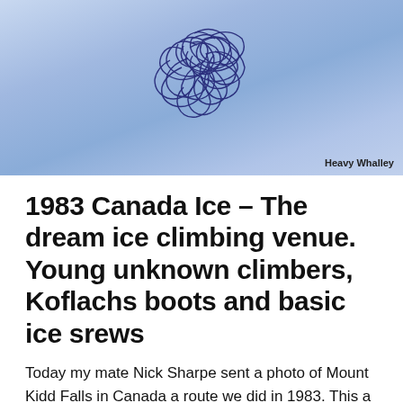[Figure (photo): Blue-toned photograph showing tangled dark blue threads or fibers against a pale blue icy background, with photo credit 'Heavy Whalley' in bottom right corner.]
1983 Canada Ice – The dream ice climbing venue. Young unknown climbers, Koflachs boots and basic ice srews
Today my mate Nick Sharpe sent a photo of Mount Kidd Falls in Canada a route we did in 1983. This a steep ice climb protected by a huge avalanche bowl on Mount Kidd. Nick is a Mountain Guide in Canada and is living the dream it brought back so many memories as we start another winter in Scotland of a trip over 40 years ago to a